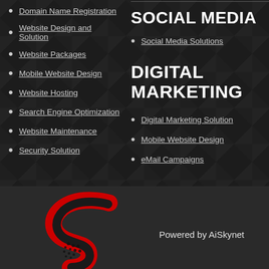Domain Name Registration
Website Design and Solution
Website Packages
Mobile Website Design
Website Hosting
Search Engine Optimization
Website Maintenance
Security Solution
SOCIAL MEDIA
Social Media Solutions
DIGITAL MARKETING
Digital Marketing Solution
Mobile Website Design
eMail Campaigns
[Figure (logo): AiSkynet red S-shaped logo]
Powered by AiSkynet